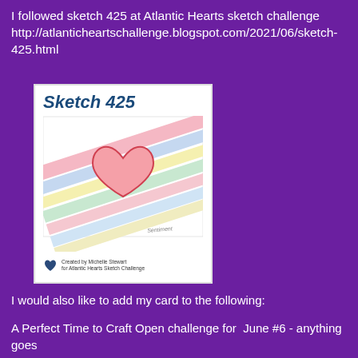I followed sketch 425 at Atlantic Hearts sketch challenge http://atlanticheartschallenge.blogspot.com/2021/06/sketch-425.html
[Figure (illustration): Sketch 425 card design showing diagonal rainbow-colored stripes with a pink heart in the center, titled 'Sketch 425', credited to Michelle Stewart for Atlantic Hearts Sketch Challenge]
I would also like to add my card to the following:
A Perfect Time to Craft Open challenge for June #6 - anything goes